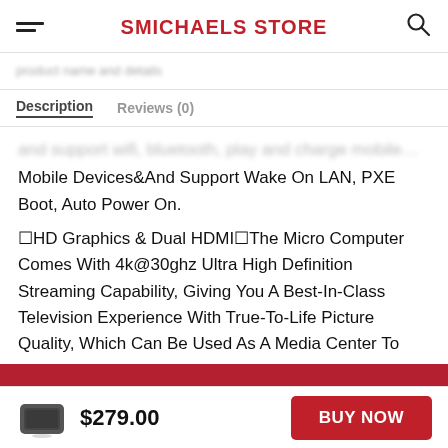SMICHAELS STORE
Description   Reviews (0)
Mobile Devices×And Support Wake On LAN, PXE Boot, Auto Power On.
■HD Graphics & Dual HDMI■The Micro Computer Comes With 4k@30ghz Ultra High Definition Streaming Capability, Giving You A Best-In-Class Television Experience With True-To-Life Picture Quality, Which Can Be Used As A Media Center To
We use cookies on our website to give you the most relevant experience by remembering your preferences and repeat visits.
$279.00
BUY NOW